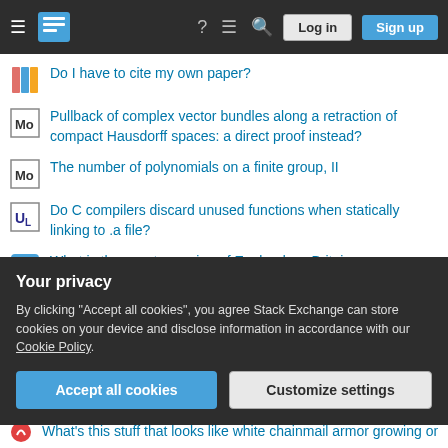[Figure (screenshot): Stack Exchange navigation bar with hamburger menu, logo, help, chat, search icons, and Log in / Sign up buttons]
Do I have to cite my own paper?
Pullback of complex vector bundles along a retraction of compact Hausdorff spaces: a direct proof instead?
The number of polynomials on a finite group, II
Do C compilers discard unused functions when statically linking to .a file?
What is the exact meaning of England vs. Britain before/during/after the formation of the Kingdom of England in the Middle Ages?
Why don't two Boomwhackers with a one-octave pitch difference have a 2:1 length ratio?
Lexical capture/access local scope in function, the same way as
Your privacy
By clicking "Accept all cookies", you agree Stack Exchange can store cookies on your device and disclose information in accordance with our Cookie Policy.
What's this stuff that looks like white chainmail armor growing on giant